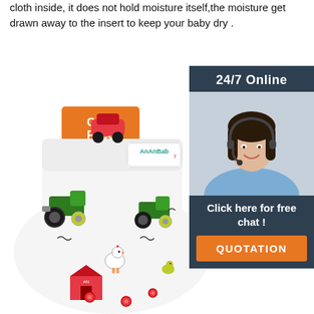cloth inside, it does not hold moisture itself,the moisture get drawn away to the insert to keep your baby dry .
Get Price
[Figure (photo): Customer service representative woman with headset, smiling, with '24/7 Online' banner and 'Click here for free chat! QUOTATION' call-to-action overlay]
[Figure (photo): AnAnBaby branded cloth diaper with farm vehicle print pattern (tractors, chickens, barn) with snap closures and label visible]